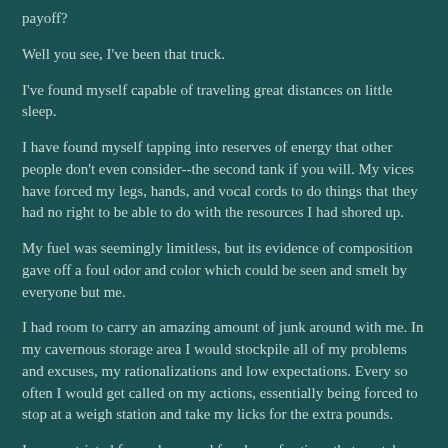payoff?
Well you see, I've been that truck.
I've found myself capable of traveling great distances on little sleep.
I have found myself tapping into reserves of energy that other people don't even consider--the second tank if you will. My vices have forced my legs, hands, and vocal cords to do things that they had no right to be able to do with the resources I had shored up.
My fuel was seemingly limitless, but its evidence of composition gave off a foul odor and color which could be seen and smelt by everyone but me.
I had room to carry an amazing amount of junk around with me. In my cavernous storage area I would stockpile all of my problems and excuses, my rationalizations and low expectations. Every so often I would get called on my actions, essentially being forced to stop at a weigh station and take my licks for the extra pounds.
I was restricted from places and freedom of actions that are taken for granted by those who have their quote/unquote shit together. I couldn't keep my speed up with the rest of the crowd and so I had to travel in the slow lane.